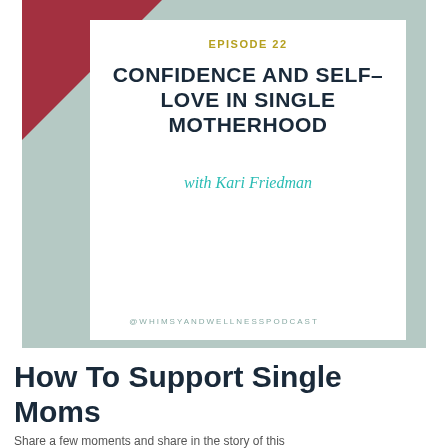[Figure (illustration): Podcast cover art for Whimsy and Wellness Podcast Episode 22, featuring a sage green background with a red triangle in the top left corner, a white card in the center showing the episode title 'CONFIDENCE AND SELF-LOVE IN SINGLE MOTHERHOOD' and 'with Kari Friedman', and the handle @WHIMSYANDWELLNESSPODCAST at the bottom.]
How To Support Single Moms
Share a few moments and share in the story of this...